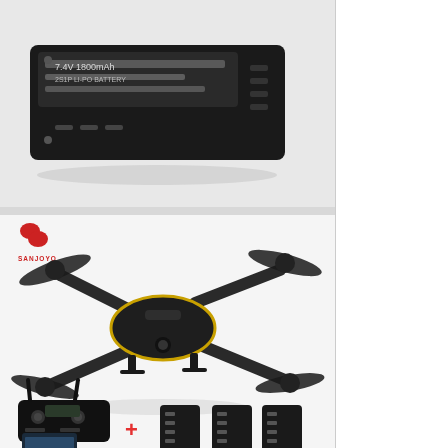[Figure (photo): Close-up photo of a black rectangular drone battery on a light gray background. The battery shows ventilation slots and label markings.]
[Figure (photo): Product photo showing a SANJOYO branded quadcopter drone with folding arms and propellers (black with gold accents), a remote controller, a smartphone, a plus sign, and three additional batteries arranged below.]